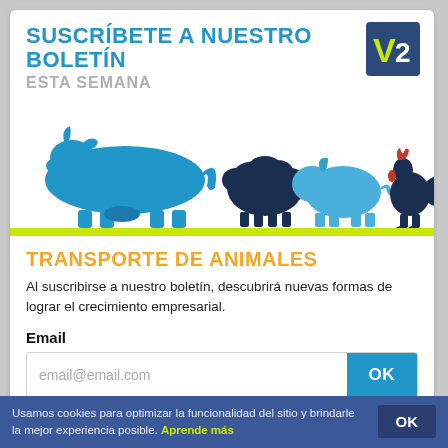SUSCRÍBETE A NUESTRO BOLETÍN
ESTA SEMANA
[Figure (illustration): Silhouettes of farm animals (cow, sheep, pig, rooster) in blue tones on white background with a lime green ground bar]
TRANSPORTE DE ANIMALES
Al suscribirse a nuestro boletín, descubrirá nuevas formas de lograr el crecimiento empresarial.
Email
email@email.com
Usamos cookies para optimizar la funcionalidad del sitio y brindarle la mejor experiencia posible. Aprende más